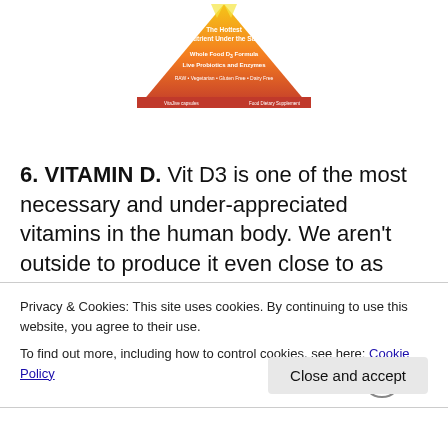[Figure (illustration): Product image of Vitamin D3 supplement with pyramid shape showing 'The Hottest Nutrient Under the Sun', 'Whole Food D3 Formula', 'Live Probiotics and Enzymes', 'RAW • Vegetarian • Gluten Free • Dairy Free']
6. VITAMIN D. Vit D3 is one of the most necessary and under-appreciated vitamins in the human body. We aren't outside to produce it even close to as much as we should be. I am all for getting your nutrients from your food but
Privacy & Cookies: This site uses cookies. By continuing to use this website, you agree to their use.
To find out more, including how to control cookies, see here: Cookie Policy
Close and accept